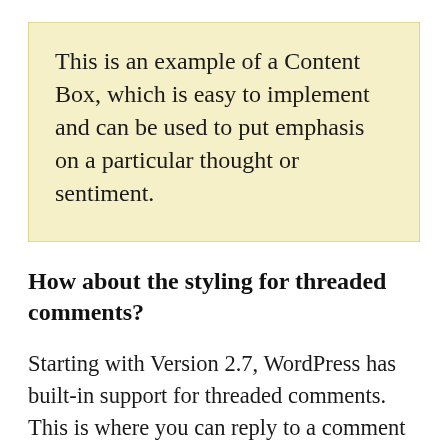This is an example of a Content Box, which is easy to implement and can be used to put emphasis on a particular thought or sentiment.
How about the styling for threaded comments?
Starting with Version 2.7, WordPress has built-in support for threaded comments. This is where you can reply to a comment the same way that other blogs let you...